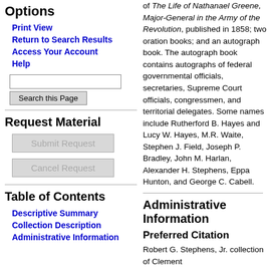Options
Print View
Return to Search Results
Access Your Account
Help
Request Material
Table of Contents
Descriptive Summary
Collection Description
Administrative Information
of The Life of Nathanael Greene, Major-General in the Army of the Revolution, published in 1858; two oration books; and an autograph book. The autograph book contains autographs of federal governmental officials, secretaries, Supreme Court officials, congressmen, and territorial delegates. Some names include Rutherford B. Hayes and Lucy W. Hayes, M.R. Waite, Stephen J. Field, Joseph P. Bradley, John M. Harlan, Alexander H. Stephens, Eppa Hunton, and George C. Cabell.
Administrative Information
Preferred Citation
Robert G. Stephens, Jr. collection of Clement